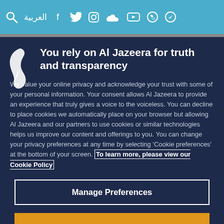العربية [social media icons: Facebook, Twitter, Instagram, SoundCloud, YouTube, WhatsApp, Telegram]
[Figure (logo): Al Jazeera Arabic logo - white stylized flame/letter on dark blue background]
You rely on Al Jazeera for truth and transparency
We value your online privacy and acknowledge your trust with some of your personal information. Your consent allows Al Jazeera to provide an experience that truly gives a voice to the voiceless. You can decline to place cookies we automatically place on your browser but allowing Al Jazeera and our partners to use cookies or similar technologies helps us improve our content and offerings to you. You can change your privacy preferences at any time by selecting 'Cookie preferences' at the bottom of your screen. To learn more, please view our Cookie Policy
Manage Preferences